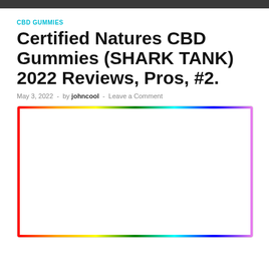CBD GUMMIES
Certified Natures CBD Gummies (SHARK TANK) 2022 Reviews, Pros, #2.
May 3, 2022  -  by johncool  -  Leave a Comment
[Figure (photo): Advertisement image for Certified Natures CBD Gummies showing product bottle, bullet points of benefits, a form for ordering with Step 1 instructions, and a smiling female doctor/nurse.]